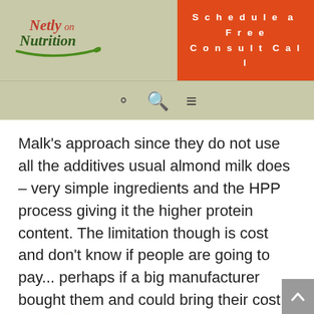[Figure (logo): Netly on Nutrition logo with green leaf underline]
Schedule a Free Consult Call
Malk's approach since they do not use all the additives usual almond milk does – very simple ingredients and the HPP process giving it the higher protein content. The limitation though is cost and don't know if people are going to pay... perhaps if a big manufacturer bought them and could bring their cost lower 🙂